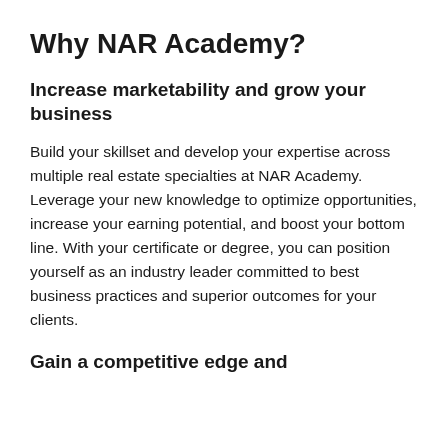Why NAR Academy?
Increase marketability and grow your business
Build your skillset and develop your expertise across multiple real estate specialties at NAR Academy. Leverage your new knowledge to optimize opportunities, increase your earning potential, and boost your bottom line. With your certificate or degree, you can position yourself as an industry leader committed to best business practices and superior outcomes for your clients.
Gain a competitive edge and